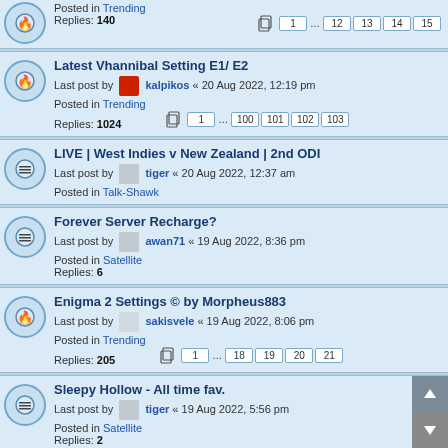Posted in Trending
Replies: 140
Pages: 1 ... 12 13 14 15
Latest Vhannibal Setting E1/ E2
Last post by kalpikos « 20 Aug 2022, 12:19 pm
Posted in Trending
Replies: 1024
Pages: 1 ... 100 101 102 103
LIVE | West Indies v New Zealand | 2nd ODI
Last post by tiger « 20 Aug 2022, 12:37 am
Posted in Talk-Shawk
Forever Server Recharge?
Last post by awan71 « 19 Aug 2022, 8:36 pm
Posted in Satellite
Replies: 6
Enigma 2 Settings © by Morpheus883
Last post by sakisvele « 19 Aug 2022, 8:06 pm
Posted in Trending
Replies: 205
Pages: 1 ... 18 19 20 21
Sleepy Hollow - All time fav.
Last post by tiger « 19 Aug 2022, 5:56 pm
Posted in Satellite
Replies: 2